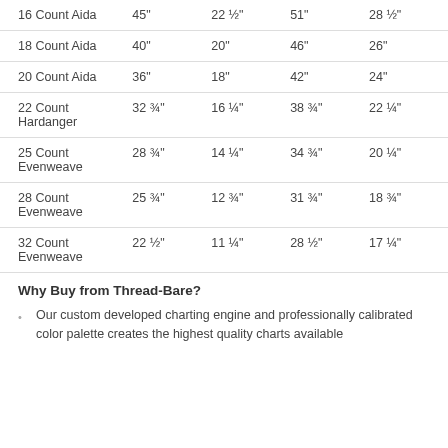| 16 Count Aida | 45" | 22 ½" | 51" | 28 ½" |
| 18 Count Aida | 40" | 20" | 46" | 26" |
| 20 Count Aida | 36" | 18" | 42" | 24" |
| 22 Count Hardanger | 32 ¾" | 16 ¼" | 38 ¾" | 22 ¼" |
| 25 Count Evenweave | 28 ¾" | 14 ¼" | 34 ¾" | 20 ¼" |
| 28 Count Evenweave | 25 ¾" | 12 ¾" | 31 ¾" | 18 ¾" |
| 32 Count Evenweave | 22 ½" | 11 ¼" | 28 ½" | 17 ¼" |
Why Buy from Thread-Bare?
Our custom developed charting engine and professionally calibrated color palette creates the highest quality charts available